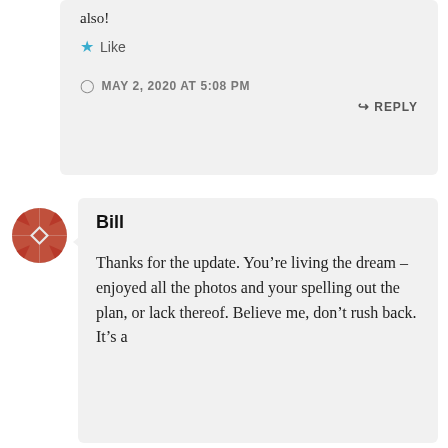also!
★ Like
MAY 2, 2020 AT 5:08 PM
↳ REPLY
[Figure (illustration): Geometric quilt-pattern avatar icon in terracotta/salmon red color, circular shape made of angular triangular mosaic tiles.]
Bill
Thanks for the update. You're living the dream – enjoyed all the photos and your spelling out the plan, or lack thereof. Believe me, don't rush back. It's a